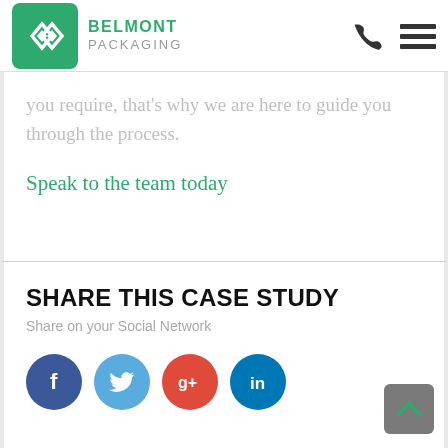[Figure (logo): Belmont Packaging logo — green rounded square with white 'bp' diamond shapes, and text 'BELMONT PACKAGING' in green and grey]
you require, that's why we are here to guide you through the process.
Speak to the team today
SHARE THIS CASE STUDY
Share on your Social Network
[Figure (infographic): Four social media icons: Facebook (blue), Twitter (light blue), Google+ (red-orange), LinkedIn (dark blue)]